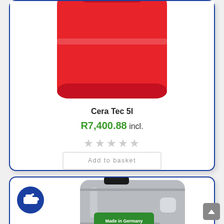[Figure (photo): Red plastic 5-litre canister (Cera Tec product) shown partially, top portion visible]
Cera Tec 5l
R7,400.88 incl.
★★★★★ (empty stars rating)
Add to basket
[Figure (photo): Grey plastic 5-litre oil canister with black cap, 'Made in Germany' green label, shown in lower product card with blue oil icon badge on left]